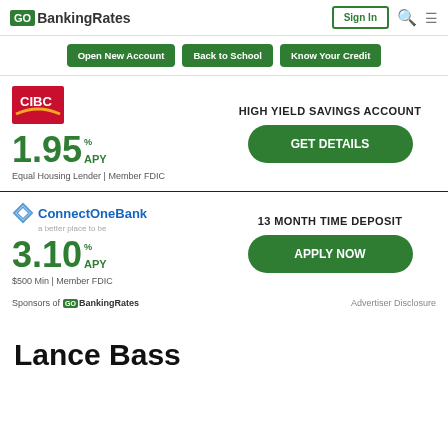GOBankingRates | Sign In
Open New Account
Back to School
Know Your Credit
[Figure (logo): CIBC bank logo - red square with gold arc]
1.95 % APY
Equal Housing Lender | Member FDIC
HIGH YIELD SAVINGS ACCOUNT
GET DETAILS
[Figure (logo): ConnectOneBank logo - blue diamond icon with ConnectOneBank text, tagline: a better place to be]
3.10 % APY
$500 Min | Member FDIC
13 MONTH TIME DEPOSIT
APPLY NOW
Sponsors of GOBankingRates
Advertiser Disclosure
Lance Bass